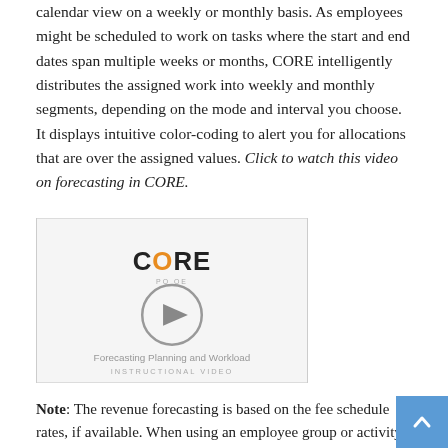calendar view on a weekly or monthly basis. As employees might be scheduled to work on tasks where the start and end dates span multiple weeks or months, CORE intelligently distributes the assigned work into weekly and monthly segments, depending on the mode and interval you choose. It displays intuitive color-coding to alert you for allocations that are over the assigned values. Click to watch this video on forecasting in CORE.
[Figure (screenshot): Video thumbnail showing CORE logo with play button overlay, titled 'Forecasting Planning and Workload', labeled 'INSTRUCTIONAL VIDEO']
Note: The revenue forecasting is based on the fee schedule rates, if available. When using an employee group or activity group in the task allocation, the fee schedule should have an exact match. Otherwise, for employee group, CORE uses the